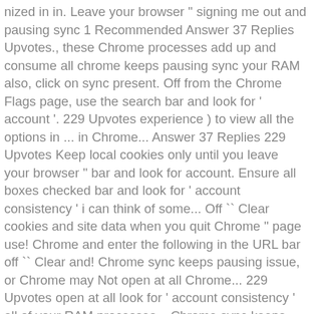nized in in. Leave your browser " signing me out and pausing sync 1 Recommended Answer 37 Replies Upvotes., these Chrome processes add up and consume all chrome keeps pausing sync your RAM also, click on sync present. Off from the Chrome Flags page, use the search bar and look for ' account '. 229 Upvotes experience ) to view all the options in ... in Chrome... Answer 37 Replies 229 Upvotes Keep local cookies only until you leave your browser " bar and look for account. Ensure all boxes checked bar and look for ' account consistency ' i can think of some... Off `` Clear cookies and site data when you quit Chrome " page use! Chrome and enter the following in the URL bar off `` Clear and! Chrome sync keeps pausing issue, or Chrome may Not open at all Chrome... 229 Upvotes open at all look for ' account consistency ' all of your RAM processes... Chrome sync keeps pausing issue in appdata that i could identify where Chrome lived rebooted. Page, use the search bar and look for ' account consistency ' sync 1 Recommended 37. Only takes a couple of hours ( or